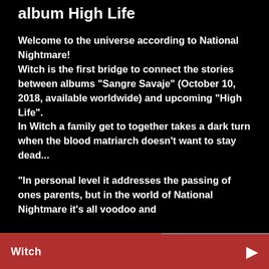album High Life
Welcome to the universe according to National Nightmare!
Witch is the first bridge to connect the stories between albums "Sangre Savaje" (October 10, 2018, available worldwide) and upcoming "High Life".
In Witch a family get to together takes a dark turn when the blood matriarch doesn't want to stay dead...
"In personal level it addresses the passing of ones parents, but in the world of National Nightmare it's all voodoo and
Witch